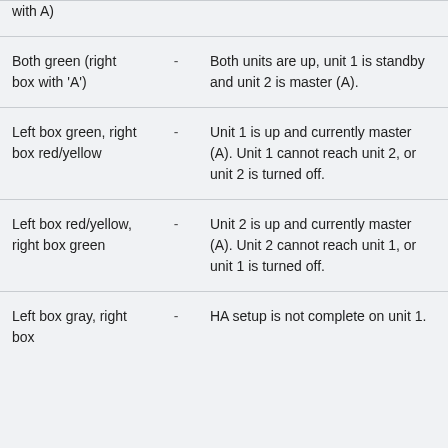| Indicator |  | Description |
| --- | --- | --- |
| with A) | - |  |
| Both green (right box with 'A') | - | Both units are up, unit 1 is standby and unit 2 is master (A). |
| Left box green, right box red/yellow | - | Unit 1 is up and currently master (A). Unit 1 cannot reach unit 2, or unit 2 is turned off. |
| Left box red/yellow, right box green | - | Unit 2 is up and currently master (A). Unit 2 cannot reach unit 1, or unit 1 is turned off. |
| Left box gray, right box | - | HA setup is not complete on unit 1. |